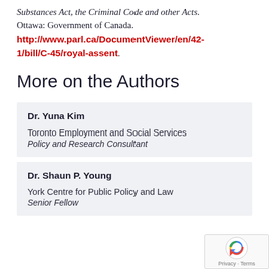Substances Act, the Criminal Code and other Acts. Ottawa: Government of Canada. http://www.parl.ca/DocumentViewer/en/42-1/bill/C-45/royal-assent.
More on the Authors
Dr. Yuna Kim
Toronto Employment and Social Services
Policy and Research Consultant
Dr. Shaun P. Young
York Centre for Public Policy and Law
Senior Fellow